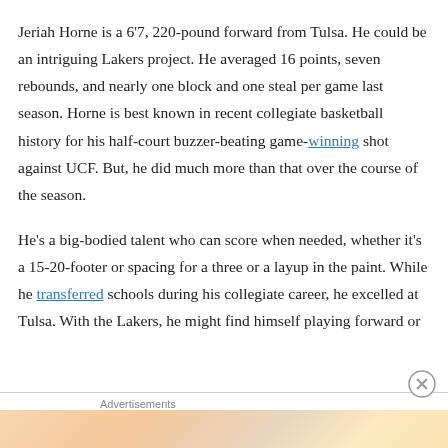Jeriah Horne is a 6'7, 220-pound forward from Tulsa. He could be an intriguing Lakers project. He averaged 16 points, seven rebounds, and nearly one block and one steal per game last season. Horne is best known in recent collegiate basketball history for his half-court buzzer-beating game-winning shot against UCF. But, he did much more than that over the course of the season.
He’s a big-bodied talent who can score when needed, whether it’s a 15-20-footer or spacing for a three or a layup in the paint. While he transferred schools during his collegiate career, he excelled at Tulsa. With the Lakers, he might find himself playing forward or
Advertisements